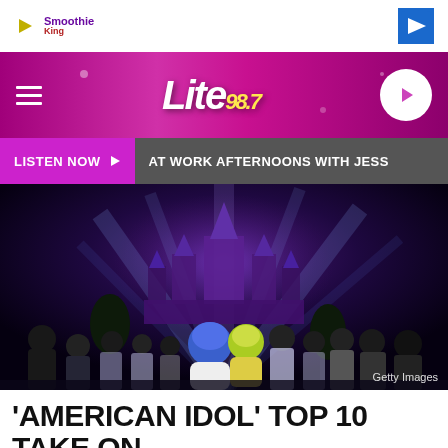[Figure (logo): Ad banner with Smoothie King logo and navigation arrow icon on white bar]
[Figure (logo): Lite 98.7 radio station header with pink/purple gradient background, hamburger menu, stylized logo, and play button]
LISTEN NOW ▶   AT WORK AFTERNOONS WITH JESS
[Figure (photo): American Idol Top 10 contestants posing at Disneyland castle at night with Inside Out characters Sadness and Joy, lit in purple and blue spotlight beams. Getty Images watermark.]
'AMERICAN IDOL' TOP 10 TAKE ON